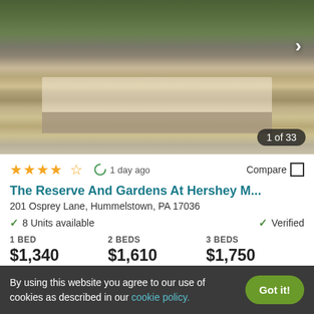[Figure (photo): Aerial view of The Reserve And Gardens At Hershey M apartment complex showing rooftops, balconies, parking area and surrounding trees]
1 of 33
★★★★☆  1 day ago  Compare
The Reserve And Gardens At Hershey M...
201 Osprey Lane, Hummelstown, PA 17036
✓ 8 Units available    ✓ Verified
| 1 BED | 2 BEDS | 3 BEDS |
| --- | --- | --- |
| $1,340 | $1,610 | $1,750 |
By using this website you agree to our use of cookies as described in our cookie policy.